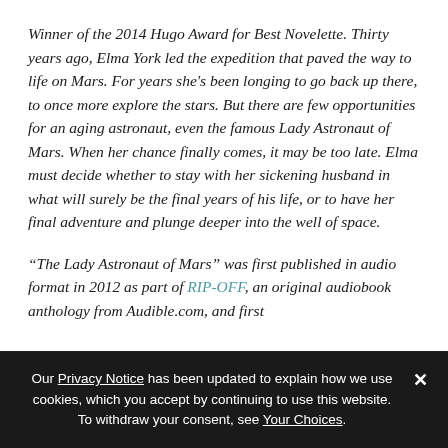Winner of the 2014 Hugo Award for Best Novelette. Thirty years ago, Elma York led the expedition that paved the way to life on Mars. For years she's been longing to go back up there, to once more explore the stars. But there are few opportunities for an aging astronaut, even the famous Lady Astronaut of Mars. When her chance finally comes, it may be too late. Elma must decide whether to stay with her sickening husband in what will surely be the final years of his life, or to have her final adventure and plunge deeper into the well of space.
“The Lady Astronaut of Mars” was first published in audio format in 2012 as part of RIP-OFF, an original audiobook anthology from Audible.com, and first
Our Privacy Notice has been updated to explain how we use cookies, which you accept by continuing to use this website. To withdraw your consent, see Your Choices.